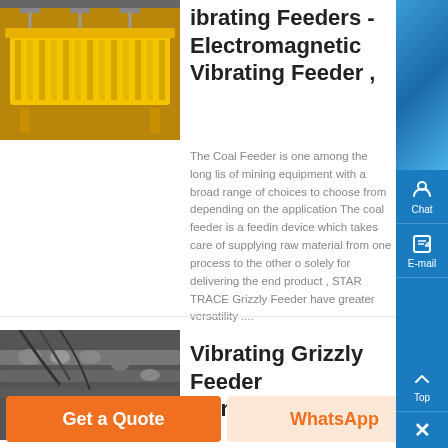[Figure (photo): Yellow electromagnetic vibrating feeder machine]
Vibrating Feeders - Electromagnetic Vibrating Feeder ,
The Coal Feeder is one among the long list of mining equipment with a broad range of choices to choose from depending on the application The coal feeder is a feeding device which takes care of supplying raw material from one process to the other or solely for delivering the end product , STAR TRACE Grizzly Feeder have greater versatility ....
[Figure (photo): Grey vibrating grizzly feeder industrial equipment]
Vibrating Grizzly Feeder Manufacturer